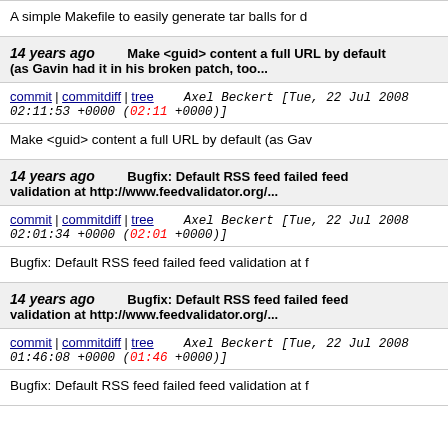A simple Makefile to easily generate tar balls for d
14 years ago   Make <guid> content a full URL by default (as Gavin had it in his broken patch, too...
commit | commitdiff | tree   Axel Beckert [Tue, 22 Jul 2008 02:11:53 +0000 (02:11 +0000)]
Make <guid> content a full URL by default (as Gav
14 years ago   Bugfix: Default RSS feed failed feed validation at http://www.feedvalidator.org/...
commit | commitdiff | tree   Axel Beckert [Tue, 22 Jul 2008 02:01:34 +0000 (02:01 +0000)]
Bugfix: Default RSS feed failed feed validation at f
14 years ago   Bugfix: Default RSS feed failed feed validation at http://www.feedvalidator.org/...
commit | commitdiff | tree   Axel Beckert [Tue, 22 Jul 2008 01:46:08 +0000 (01:46 +0000)]
Bugfix: Default RSS feed failed feed validation at f